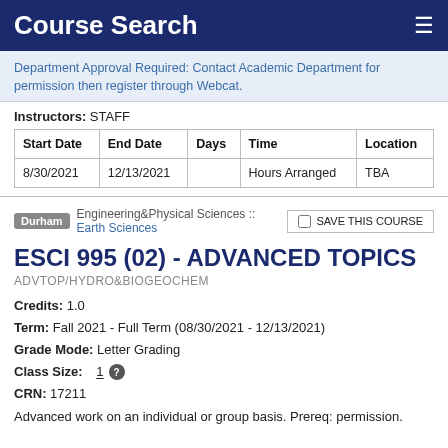Course Search
Department Approval Required: Contact Academic Department for permission then register through Webcat.
Instructors: STAFF
| Start Date | End Date | Days | Time | Location |
| --- | --- | --- | --- | --- |
| 8/30/2021 | 12/13/2021 |  | Hours Arranged | TBA |
Durham  Engineering&Physical Sciences :: Earth Sciences
ESCI 995 (02) - ADVANCED TOPICS
ADVTOP/HYDRO&BIOGEOCHEM
Credits: 1.0
Term: Fall 2021 - Full Term (08/30/2021 - 12/13/2021)
Grade Mode: Letter Grading
Class Size: 1
CRN: 17211
Advanced work on an individual or group basis. Prereq: permission.